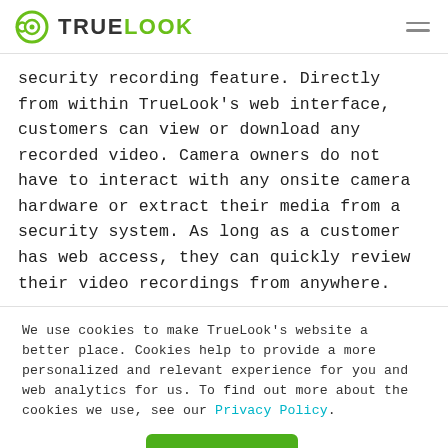TrueLook
security recording feature. Directly from within TrueLook’s web interface, customers can view or download any recorded video. Camera owners do not have to interact with any onsite camera hardware or extract their media from a security system. As long as a customer has web access, they can quickly review their video recordings from anywhere.
We use cookies to make TrueLook’s website a better place. Cookies help to provide a more personalized and relevant experience for you and web analytics for us. To find out more about the cookies we use, see our Privacy Policy.
Accept